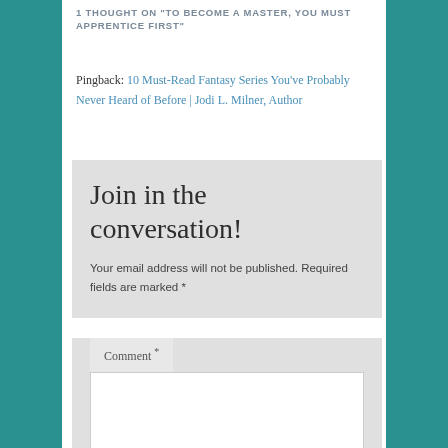1 THOUGHT ON "TO BECOME A MASTER, YOU MUST APPRENTICE FIRST"
Pingback: 10 Must-Read Fantasy Series You've Probably Never Heard of Before | Jodi L. Milner, Author
Join in the conversation!
Your email address will not be published. Required fields are marked *
Comment *